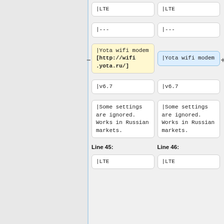|LTE
|LTE
|---
|---
|Yota wifi modem [http://wifi.yota.ru/]
|Yota wifi modem
|v6.7
|v6.7
|Some settings are ignored. Works in Russian markets.
|Some settings are ignored. Works in Russian markets.
Line 45:
Line 46:
|LTE
|LTE